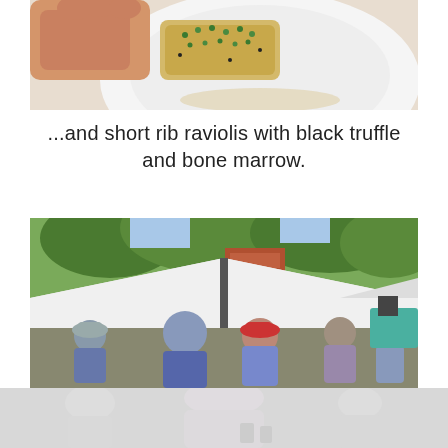[Figure (photo): A hand holding a piece of pasta ravioli on a white plate, garnished with green herbs, viewed from above.]
...and short rib raviolis with black truffle and bone marrow.
[Figure (photo): Outdoor food festival scene with a white tent canopy, green trees, and a crowd of people milling about under the tent.]
[Figure (photo): Bottom portion of the outdoor festival scene showing attendees in foreground, faded/overexposed image.]